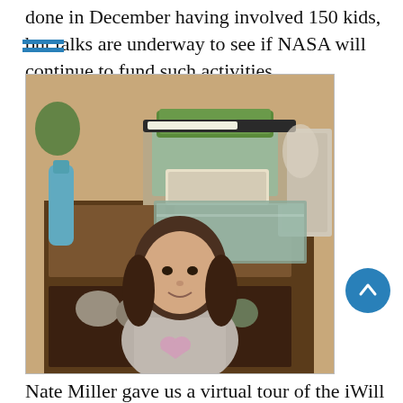done in December having involved 150 kids, but talks are underway to see if NASA will continue to fund such activities.
[Figure (photo): A young girl with long dark hair smiling, seated in front of a wooden cabinet displaying an aquaponics setup with a grow light, plants, and a fish tank.]
Nate Miller gave us a virtual tour of the iWill aquaponics setup in Campbell's Greenhouse on North Elizabeth. Longtime members of Pueblo Makes may remember that we toured a previous location in October 2019. We toured